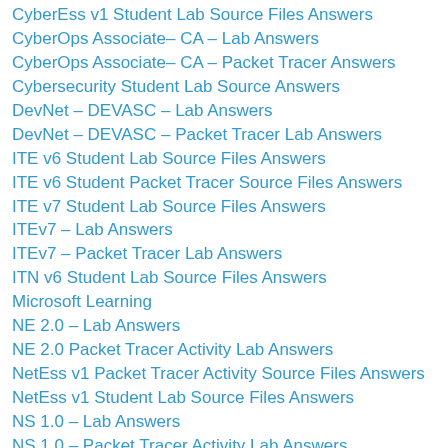CyberEss v1 Student Lab Source Files Answers
CyberOps Associate– CA – Lab Answers
CyberOps Associate– CA – Packet Tracer Answers
Cybersecurity Student Lab Source Answers
DevNet – DEVASC – Lab Answers
DevNet – DEVASC – Packet Tracer Lab Answers
ITE v6 Student Lab Source Files Answers
ITE v6 Student Packet Tracer Source Files Answers
ITE v7 Student Lab Source Files Answers
ITEv7 – Lab Answers
ITEv7 – Packet Tracer Lab Answers
ITN v6 Student Lab Source Files Answers
Microsoft Learning
NE 2.0 – Lab Answers
NE 2.0 Packet Tracer Activity Lab Answers
NetEss v1 Packet Tracer Activity Source Files Answers
NetEss v1 Student Lab Source Files Answers
NS 1.0 – Lab Answers
NS 1.0 – Packet Tracer Activity Lab Answers
Uncategorized